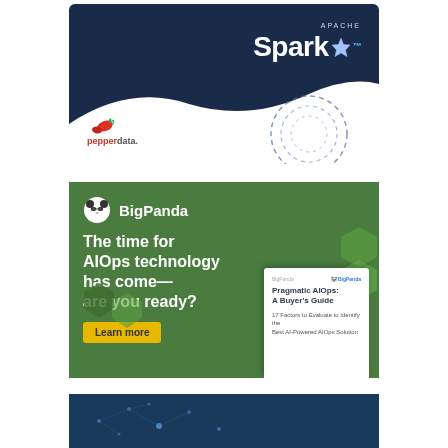[Figure (illustration): Top advertisement banner with dark navy blue background, Apache Spark logo in top right with white star icon, and Pepperdata logo in bottom left with red chili pepper icon and red/gray text]
[Figure (illustration): BigPanda advertisement on green background. BigPanda panda logo icon and brand name at top. Bold white headline: 'The time for AIOps technology has come—are you ready?' Yellow 'Learn more' button. Booklet image of 'Pragmatic AIOps: A Buyer's Guide' in bottom right. Decorative hexagonal shapes on right and bottom left.]
[Figure (illustration): Partial bottom advertisement with dark blue/teal background with network dot pattern visible]